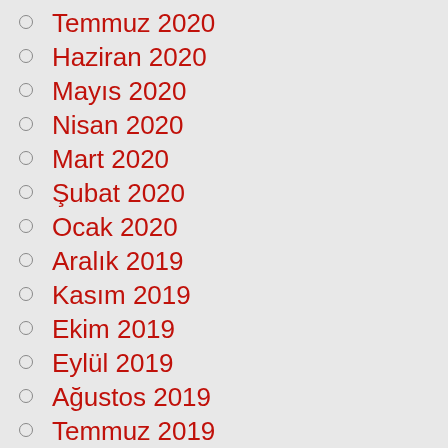Temmuz 2020
Haziran 2020
Mayıs 2020
Nisan 2020
Mart 2020
Şubat 2020
Ocak 2020
Aralık 2019
Kasım 2019
Ekim 2019
Eylül 2019
Ağustos 2019
Temmuz 2019
Haziran 2019
Mayıs 2019
Nisan 2019
Mart 2019
Şubat 2019
Ocak 2019